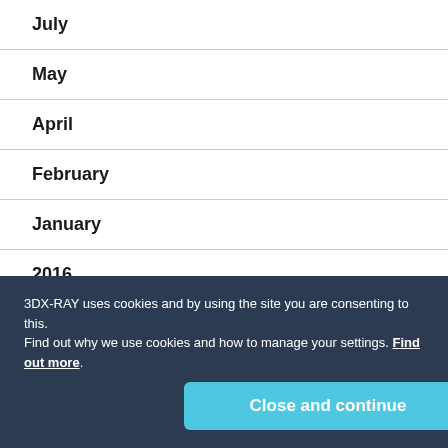July
May
April
February
January
2016
December
October
September
August
3DX-RAY uses cookies and by using the site you are consenting to this.
Find out why we use cookies and how to manage your settings. Find out more.